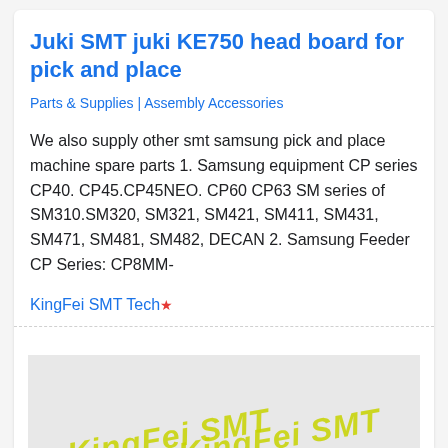Juki SMT juki KE750 head board for pick and place
Parts & Supplies | Assembly Accessories
We also supply other smt samsung pick and place machine spare parts 1. Samsung equipment CP series CP40. CP45.CP45NEO. CP60 CP63 SM series of SM310.SM320, SM321, SM421, SM411, SM431, SM471, SM481, SM482, DECAN 2. Samsung Feeder CP Series: CP8MM-
KingFei SMT Tech*
[Figure (photo): Photo of SMT product packaging with yellow 'KingFei SMT' watermark text visible twice on a light grey/white surface]